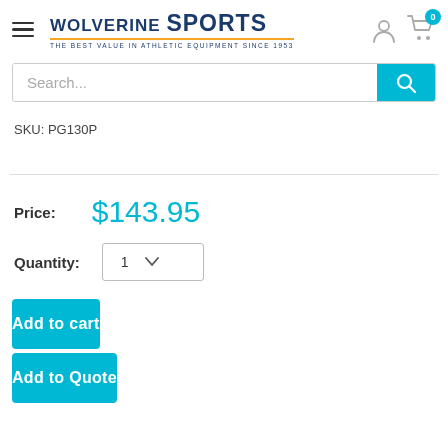[Figure (logo): Wolverine Sports logo with hamburger menu, user icon, and cart icon with badge showing 0]
[Figure (screenshot): Search bar with teal search button]
SKU: PG130P
Price: $143.95
Quantity: 1
Add to cart
Add to Quote